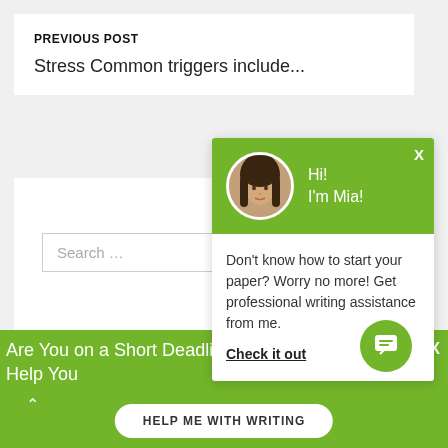PREVIOUS POST
Stress Common triggers include...
[Figure (screenshot): Chat popup with avatar photo of woman named Mia, green header with 'Hi! I'm Mia!', body text 'Don't know how to start your paper? Worry no more! Get professional writing assistance from me. Check it out']
Search ...
Are You on a Short Deadline? Let a Professional W… Help You
HELP ME WITH WRITING